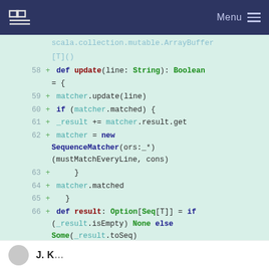Menu
[Figure (screenshot): Code diff screenshot showing Scala code lines 58-68 with syntax highlighting on a light green background. Lines show a SequenceMatcher class implementation with update, result, and matched methods.]
... (bottom strip with avatar icon and partial text)